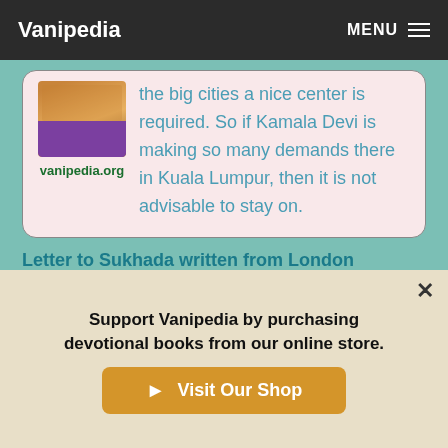Vanipedia   MENU
the big cities a nice center is required. So if Kamala Devi is making so many demands there in Kuala Lumpur, then it is not advisable to stay on.
Letter to Sukhada written from London
Upon his recommendation and the recommendation of Satsvarupa Prabhu I have gladly consented to accept you as my
Support Vanipedia by purchasing devotional books from our online store.
Visit Our Shop